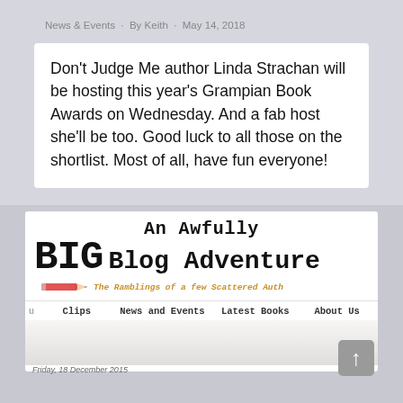News & Events · By Keith · May 14, 2018
Don't Judge Me author Linda Strachan will be hosting this year's Grampian Book Awards on Wednesday. And a fab host she'll be too. Good luck to all those on the shortlist. Most of all, have fun everyone!
[Figure (screenshot): Screenshot of 'An Awfully BIG Blog Adventure' blog header with title text in typewriter font, pencil illustration, tagline 'The Ramblings of a few Scattered Auth...', and navigation bar with links: Clips, News and Events, Latest Books, About Us]
Friday, 18 December 2015